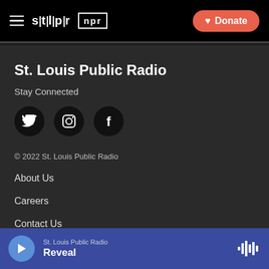St Louis Public Radio / NPR — Donate
St. Louis Public Radio
Stay Connected
[Figure (illustration): Three social media icons in black circles: Twitter (bird), Instagram (camera), Facebook (f)]
© 2022 St. Louis Public Radio
About Us
Careers
Contact Us
St. Louis Public Radio — Reveal (audio player bar)